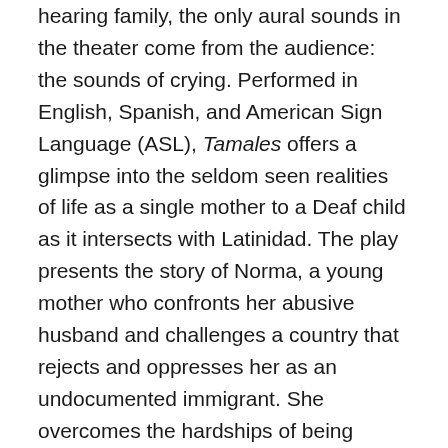hearing family, the only aural sounds in the theater come from the audience: the sounds of crying. Performed in English, Spanish, and American Sign Language (ASL), Tamales offers a glimpse into the seldom seen realities of life as a single mother to a Deaf child as it intersects with Latinidad. The play presents the story of Norma, a young mother who confronts her abusive husband and challenges a country that rejects and oppresses her as an undocumented immigrant. She overcomes the hardships of being Latina, undocumented, and having a Deaf child (Mauricio) without any support from her husband, her mother, and local and state institutions. Ultimately, Norma must negotiate cultural citizenship and notions of belonging to the Deaf Latin@ community so that her son can have more opportunities. The play uses—and calls attention to—silence as an essential building block in the process of constructing, remixing, and performing the